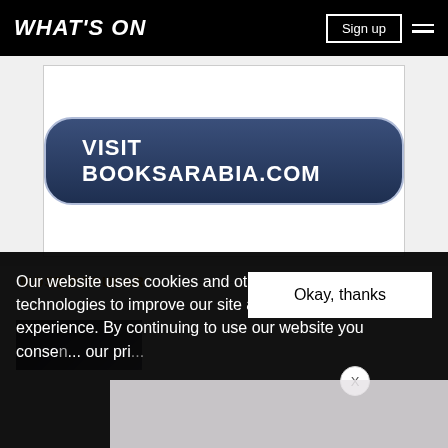WHAT'S ON
[Figure (other): Advertisement banner showing 'VISIT BOOKSARABIA.COM' button on dark navy rounded rectangle against white background]
MOST POPULAR
[Figure (photo): Partial thumbnail image strip]
Our website uses cookies and other similar technologies to improve our site and your online experience. By continuing to use our website you consen... our pr...